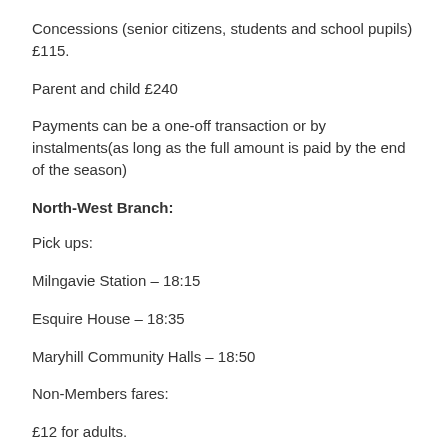Concessions (senior citizens, students and school pupils) £115.
Parent and child £240
Payments can be a one-off transaction or by instalments(as long as the full amount is paid by the end of the season)
North-West Branch:
Pick ups:
Milngavie Station – 18:15
Esquire House – 18:35
Maryhill Community Halls – 18:50
Non-Members fares:
£12 for adults.